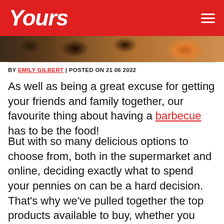Yours
[Figure (photo): Close-up photo of barbecue food (grilled meat/burgers) on a grill with orange/yellow tones, partially visible at top of page]
BY EMILY GILBERT | POSTED ON 21 06 2022
As well as being a great excuse for getting your friends and family together, our favourite thing about having a barbecue has to be the food!
But with so many delicious options to choose from, both in the supermarket and online, deciding exactly what to spend your pennies on can be a hard decision. That's why we've pulled together the top products available to buy, whether you fancy bangers, burgers, all-in-one kits or veggie and vegan options.